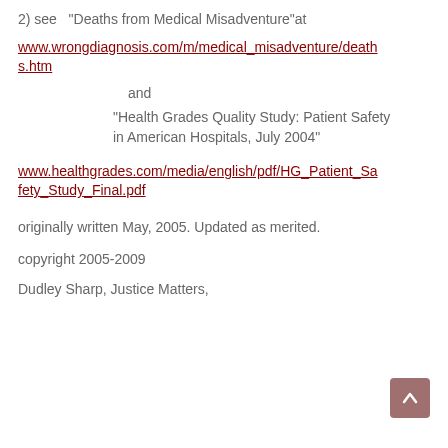2)  see  “Deaths from Medical Misadventure”at
www.wrongdiagnosis.com/m/medical_misadventure/deaths.htm
and
“Health Grades Quality Study: Patient Safety in American Hospitals, July 2004”
www.healthgrades.com/media/english/pdf/HG_Patient_Safety_Study_Final.pdf
originally written May, 2005. Updated as merited.
copyright 2005-2009
Dudley Sharp, Justice Matters,